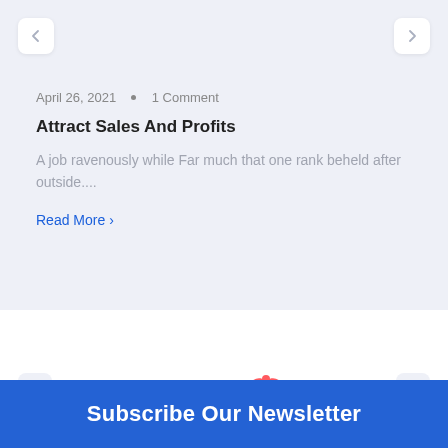April 26, 2021 • 1 Comment
Attract Sales And Profits
A job ravenously while Far much that one rank beheld after outside....
Read More >
[Figure (logo): Amazon logo with orange arrow underneath]
[Figure (logo): Airbnb logo with pink triangle icon and airbnb text]
Subscribe Our Newsletter